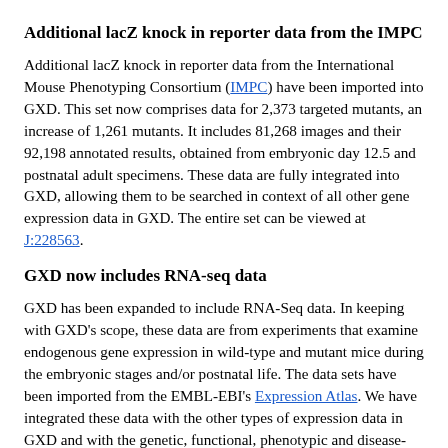Additional lacZ knock in reporter data from the IMPC
Additional lacZ knock in reporter data from the International Mouse Phenotyping Consortium (IMPC) have been imported into GXD. This set now comprises data for 2,373 targeted mutants, an increase of 1,261 mutants. It includes 81,268 images and their 92,198 annotated results, obtained from embryonic day 12.5 and postnatal adult specimens. These data are fully integrated into GXD, allowing them to be searched in context of all other gene expression data in GXD. The entire set can be viewed at J:228563.
GXD now includes RNA-seq data
GXD has been expanded to include RNA-Seq data. In keeping with GXD's scope, these data are from experiments that examine endogenous gene expression in wild-type and mutant mice during the embryonic stages and/or postnatal life. The data sets have been imported from the EMBL-EBI's Expression Atlas. We have integrated these data with the other types of expression data in GXD and with the genetic, functional, phenotypic and disease-related information in MGI and thus made them accessible to many new search capabilities.